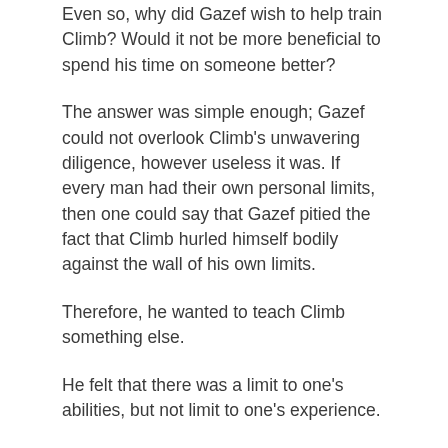Even so, why did Gazef wish to help train Climb? Would it not be more beneficial to spend his time on someone better?
The answer was simple enough; Gazef could not overlook Climb's unwavering diligence, however useless it was. If every man had their own personal limits, then one could say that Gazef pitied the fact that Climb hurled himself bodily against the wall of his own limits.
Therefore, he wanted to teach Climb something else.
He felt that there was a limit to one's abilities, but not limit to one's experience.
In addition, there was one more reason. He felt a deep-seated pity for the tragic state of his greatest rival.
So I'm using him as a substitute, huh… I'm doing Climb a